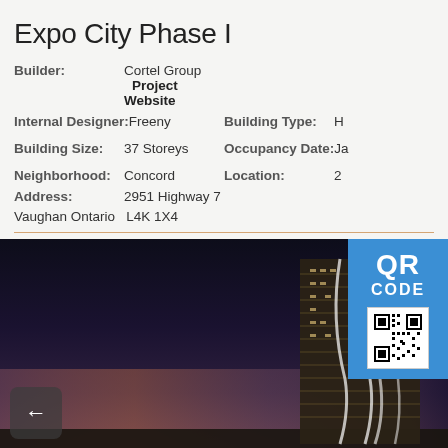Expo City Phase I
Builder: Cortel Group  Project Website
Internal Designer: Freeny   Building Type: H...
Building Size: 37 Storeys   Occupancy Date: Ja...
Neighborhood: Concord   Location: 2...
Address: 2951 Highway 7
Vaughan Ontario  L4K 1X4
[Figure (photo): Rendering of Expo City Phase I high-rise building at dusk with dramatic curved glass facade against dark sky]